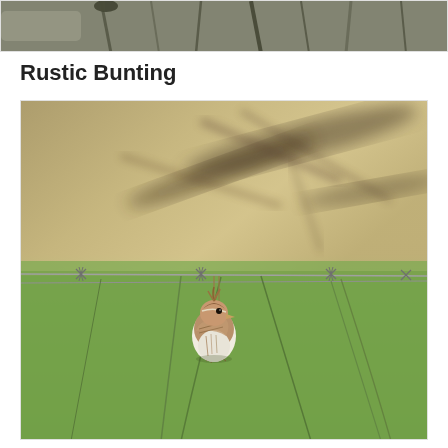[Figure (photo): Partial top photo showing some reeds or grasses, partially cropped at the top of the page]
Rustic Bunting
[Figure (photo): A small Rustic Bunting bird perched on a barbed wire fence. The background shows a blurred tan/beige upper area with dark branches, and a green lower area. The bird is small, brown and white streaked, with a slightly raised crest, sitting on the wire.]